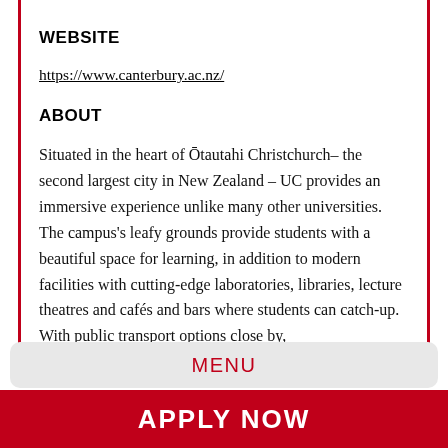WEBSITE
https://www.canterbury.ac.nz/
ABOUT
Situated in the heart of Ōtautahi Christchurch– the second largest city in New Zealand – UC provides an immersive experience unlike many other universities. The campus's leafy grounds provide students with a beautiful space for learning, in addition to modern facilities with cutting-edge laboratories, libraries, lecture theatres and cafés and bars where students can catch-up. With public transport options close by,
MENU
APPLY NOW